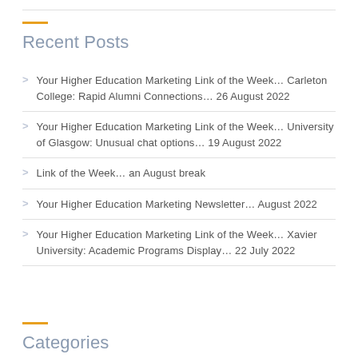Recent Posts
Your Higher Education Marketing Link of the Week… Carleton College: Rapid Alumni Connections… 26 August 2022
Your Higher Education Marketing Link of the Week… University of Glasgow: Unusual chat options… 19 August 2022
Link of the Week… an August break
Your Higher Education Marketing Newsletter… August 2022
Your Higher Education Marketing Link of the Week… Xavier University: Academic Programs Display… 22 July 2022
Categories